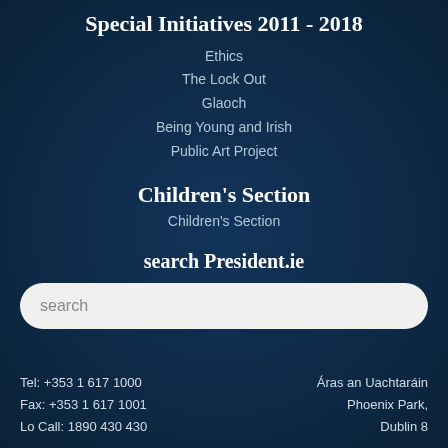Special Initiatives 2011 - 2018
Ethics
The Lock Out
Glaoch
Being Young and Irish
Public Art Project
Children's Section
Children's Section
search President.ie
search
Tel: +353 1 617 1000
Fax: +353 1 617 1001
Lo Call: 1890 430 430
Áras an Uachtaráin
Phoenix Park,
Dublin 8